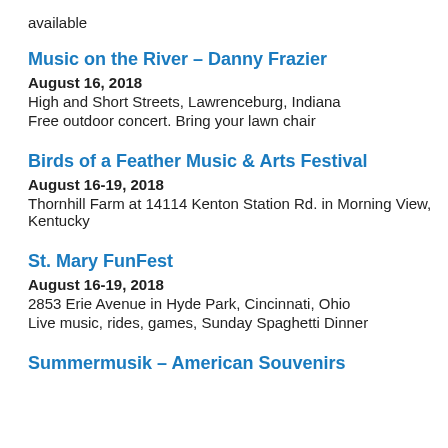available
Music on the River – Danny Frazier
August 16, 2018
High and Short Streets, Lawrenceburg, Indiana
Free outdoor concert. Bring your lawn chair
Birds of a Feather Music & Arts Festival
August 16-19, 2018
Thornhill Farm at 14114 Kenton Station Rd. in Morning View, Kentucky
St. Mary FunFest
August 16-19, 2018
2853 Erie Avenue in Hyde Park, Cincinnati, Ohio
Live music, rides, games, Sunday Spaghetti Dinner
Summermusik – American Souvenirs